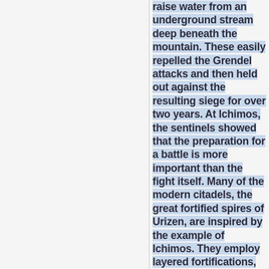raise water from an underground stream deep beneath the mountain. These easily repelled the Grendel attacks and then held out against the resulting siege for over two years. At Ichimos, the sentinels showed that the preparation for a battle is more important than the fight itself. Many of the modern citadels, the great fortified spires of Urizen, are inspired by the example of Ichimos. They employ layered fortifications, create storehouses of supplies and dig deep wells to ensure that they can endure a siege no matter